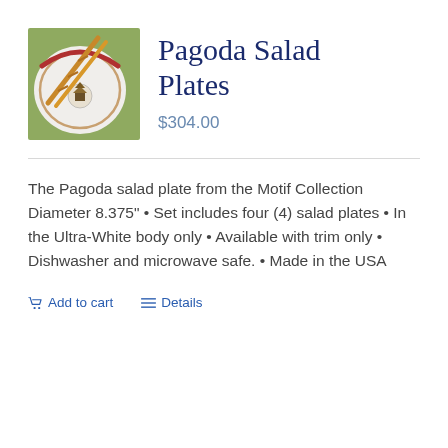[Figure (photo): Product photo of Pagoda salad plates — white plates with a decorative pagoda motif and bamboo utensils, on a green background]
Pagoda Salad Plates
$304.00
The Pagoda salad plate from the Motif Collection Diameter 8.375" • Set includes four (4) salad plates • In the Ultra-White body only • Available with trim only • Dishwasher and microwave safe. • Made in the USA
Add to cart   Details